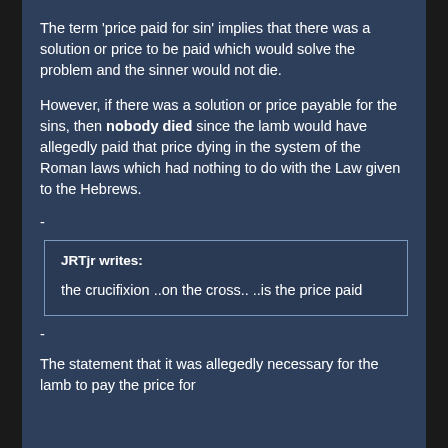The term 'price paid for sin' implies that there was a solution or price to be paid which would solve the problem and the sinner would not die.
However, if there was a solution or price payable for the sins, then nobody died since the lamb would have allegedly paid that price dying in the system of the Roman laws which had nothing to do with the Law given to the Hebrews.
-
JRTjr writes:

the crucifixion ..on the cross.. ..is the price paid
-
The statement that it was allegedly necessary for the lamb to pay the price for